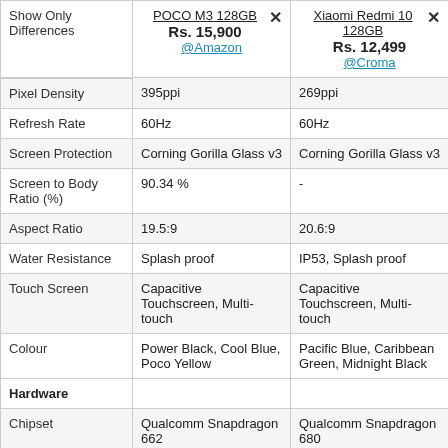|  | POCO M3 128GB | Xiaomi Redmi 10 128GB |
| --- | --- | --- |
| Show Only Differences | Rs. 15,900 @Amazon | Rs. 12,499 @Croma |
| Pixel Density | 395ppi | 269ppi |
| Refresh Rate | 60Hz | 60Hz |
| Screen Protection | Corning Gorilla Glass v3 | Corning Gorilla Glass v3 |
| Screen to Body Ratio (%) | 90.34 % | - |
| Aspect Ratio | 19.5:9 | 20.6:9 |
| Water Resistance | Splash proof | IP53, Splash proof |
| Touch Screen | Capacitive Touchscreen, Multi-touch | Capacitive Touchscreen, Multi-touch |
| Colour | Power Black, Cool Blue, Poco Yellow | Pacific Blue, Caribbean Green, Midnight Black |
| Hardware |  |  |
| Chipset | Qualcomm Snapdragon 662 | Qualcomm Snapdragon 680 |